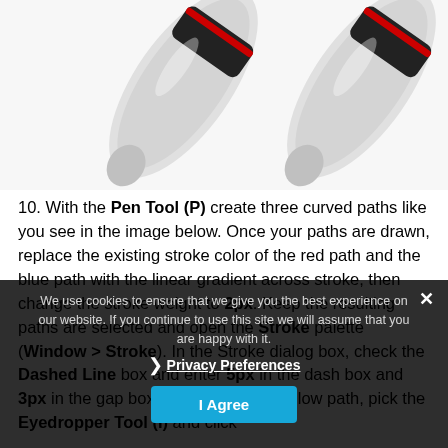[Figure (illustration): Two pen tool cursors side by side, white/gray stylus shapes with black and red accents, shown from the tip/nib angle on a white background.]
10. With the Pen Tool (P) create three curved paths like you see in the image below. Once your paths are drawn, replace the existing stroke color of the red path and the blue path with the linear gradient across stroke, then change the stroke weight to 2px. Keep the resulting paths are selected and open the Stroke palette (Window > Stroke). In the Stroke dialog box, check the Dashed Line box and enter 5px in the dash box and 3px in the gap box. Now select the yellow path, pick the Eyedropper Tool (I) and click
We use cookies to ensure that we give you the best experience on our website. If you continue to use this site we will assume that you are happy with it.
Privacy Preferences
I Agree